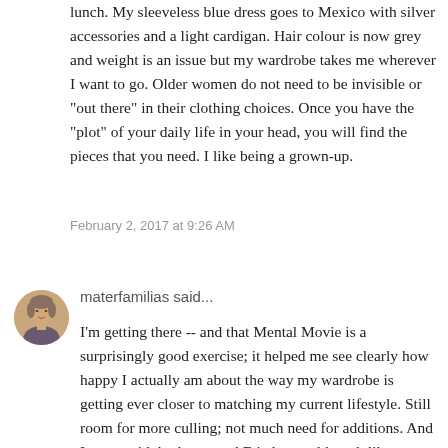lunch. My sleeveless blue dress goes to Mexico with silver accessories and a light cardigan. Hair colour is now grey and weight is an issue but my wardrobe takes me wherever I want to go. Older women do not need to be invisible or "out there" in their clothing choices. Once you have the "plot" of your daily life in your head, you will find the pieces that you need. I like being a grown-up.
February 2, 2017 at 9:26 AM
[Figure (photo): Circular avatar photo of a woman with short grey/brown hair]
materfamilias said...
I'm getting there -- and that Mental Movie is a surprisingly good exercise; it helped me see clearly how happy I actually am about the way my wardrobe is getting ever closer to matching my current lifestyle. Still room for more culling; not much need for additions. And I agree with both you and Friedman, although like you, I'm fine with others doing what they want. If the "distractions" are truly giving the individual a joy that she doesn't expect or require me to share, if the noisy dressing isn't meant to elicit